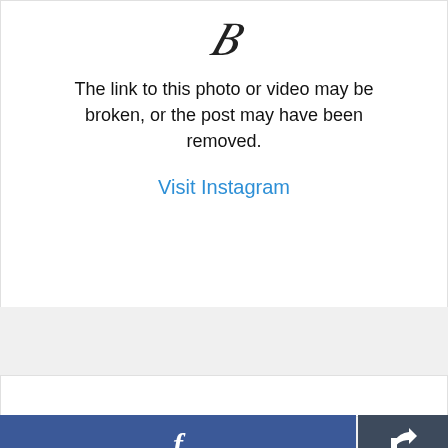[Figure (illustration): Broken link / missing media icon — a stylized italic character suggesting a broken image]
The link to this photo or video may be broken, or the post may have been removed.
Visit Instagram
[Figure (screenshot): Empty white lower card area]
[Figure (other): Facebook share button bar with Facebook 'f' logo button and a share/export icon button]